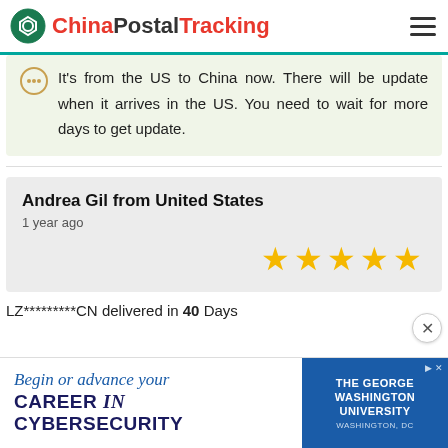ChinaPostalTracking
It's from the US to China now. There will be update when it arrives in the US. You need to wait for more days to get update.
Andrea Gil from United States
1 year ago
★★★★★
LZ*********CN delivered in 40 Days
[Figure (infographic): Advertisement banner: 'Begin or advance your CAREER in CYBERSECURITY' with The George Washington University logo/branding on the right side in blue.]